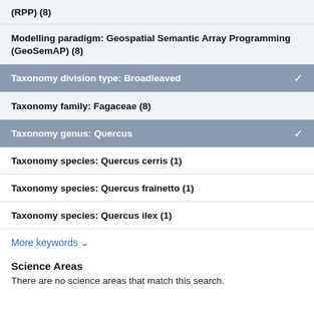(RPP) (8)
Modelling paradigm: Geospatial Semantic Array Programming (GeoSemAP) (8)
Taxonomy division type: Broadleaved ✓
Taxonomy family: Fagaceae (8)
Taxonomy genus: Quercus ✓
Taxonomy species: Quercus cerris (1)
Taxonomy species: Quercus frainetto (1)
Taxonomy species: Quercus ilex (1)
More keywords ∨
Science Areas
There are no science areas that match this search.